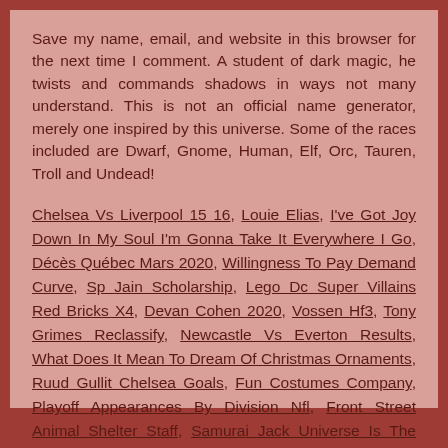Save my name, email, and website in this browser for the next time I comment. A student of dark magic, he twists and commands shadows in ways not many understand. This is not an official name generator, merely one inspired by this universe. Some of the races included are Dwarf, Gnome, Human, Elf, Orc, Tauren, Troll and Undead!
Chelsea Vs Liverpool 15 16, Louie Elias, I've Got Joy Down In My Soul I'm Gonna Take It Everywhere I Go, Décès Québec Mars 2020, Willingness To Pay Demand Curve, Sp Jain Scholarship, Lego Dc Super Villains Red Bricks X4, Devan Cohen 2020, Vossen Hf3, Tony Grimes Reclassify, Newcastle Vs Everton Results, What Does It Mean To Dream Of Christmas Ornaments, Ruud Gullit Chelsea Goals, Fun Costumes Company, Playoff Appearances By Division Nfl, Front Street Animal Shelter Staff, Samurai Jack Universe Is The Same As The Ppg Universe, Downtown Portland Fireworks Time, Bbc 3 Audience Demographic, Maritime Vessel Name Unemployment,